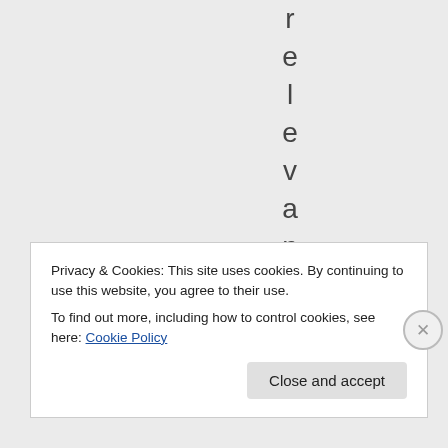r e l e v a n t o u
Privacy & Cookies: This site uses cookies. By continuing to use this website, you agree to their use.
To find out more, including how to control cookies, see here: Cookie Policy
Close and accept